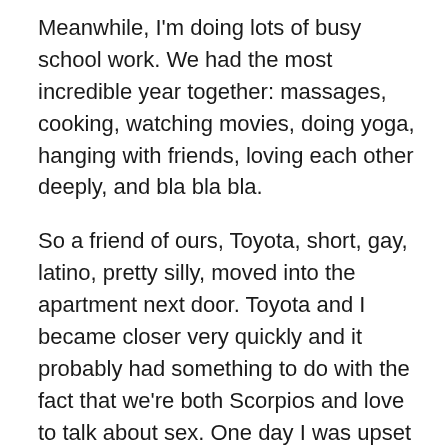Meanwhile, I'm doing lots of busy school work. We had the most incredible year together: massages, cooking, watching movies, doing yoga, hanging with friends, loving each other deeply, and bla bla bla.
So a friend of ours, Toyota, short, gay, latino, pretty silly, moved into the apartment next door. Toyota and I became closer very quickly and it probably had something to do with the fact that we're both Scorpios and love to talk about sex. One day I was upset with Explorer for not wanting to have sex with me very often because he was jerking off too much. Explorer already had a pretty low libido and I over here am a well oiled machine that likes to get it at least every other day if not every day. So I complained to Toyota about this tragedy at the laundromat. I shared with him my many issues with the relationship: he drinks to much, looks at porn & J's it almost everyday,